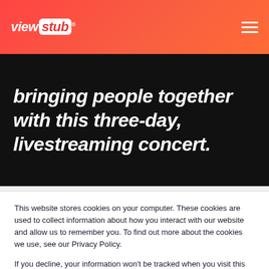ViewStub
bringing people together with this three-day, livestreaming concert.
This website stores cookies on your computer. These cookies are used to collect information about how you interact with our website and allow us to remember you. To find out more about the cookies we use, see our Privacy Policy.

If you decline, your information won’t be tracked when you visit this website.